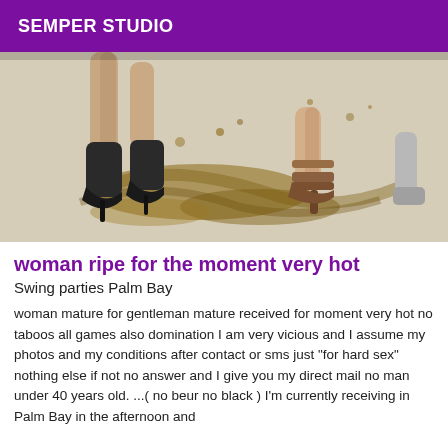SEMPER STUDIO
[Figure (photo): Photo showing women's feet and legs wearing high heels, standing on a surface with mud/dirt marks]
woman ripe for the moment very hot
Swing parties Palm Bay
woman mature for gentleman mature received for moment very hot no taboos all games also domination I am very vicious and I assume my photos and my conditions after contact or sms just "for hard sex" nothing else if not no answer and I give you my direct mail no man under 40 years old. ...( no beur no black ) I'm currently receiving in Palm Bay in the afternoon and